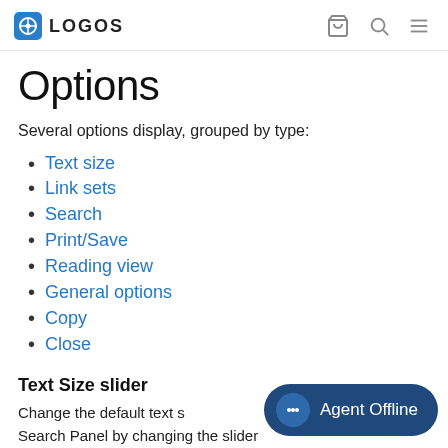LOGOS
Options
Several options display, grouped by type:
Text size
Link sets
Search
Print/Save
Reading view
General options
Copy
Close
Text Size slider
Change the default text s
Search Panel by changing the slider